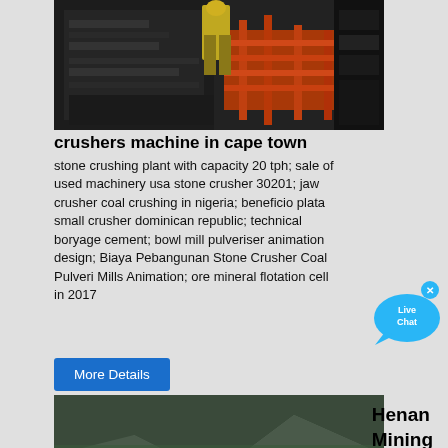[Figure (photo): Workers on industrial mining machinery, orange scaffold structure visible, dark metal equipment in background]
crushers machine in cape town
stone crushing plant with capacity 20 tph; sale of used machinery usa stone crusher 30201; jaw crusher coal crushing in nigeria; beneficio plata small crusher dominican republic; technical boryage cement; bowl mill pulveriser animation design; Biaya Pebangunan Stone Crusher Coal Pulveris Mills Animation; ore mineral flotation cell in 2017
[Figure (illustration): Live Chat bubble icon in cyan/blue]
More Details
[Figure (photo): Mining crushing facility at base of rocky mountain, blue-roofed building, yellow excavator machinery, conveyor belts]
Henan Mining